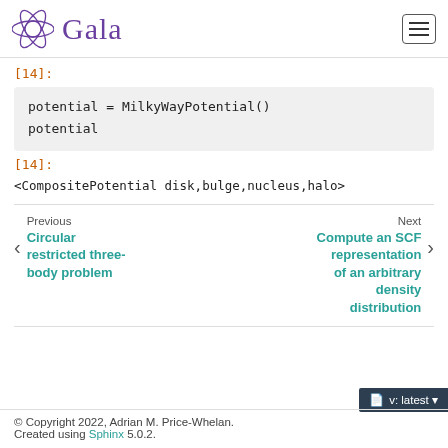Gala
[14]:
potential = MilkyWayPotential()
potential
[14]:
<CompositePotential disk,bulge,nucleus,halo>
Previous
Circular restricted three-body problem
Next
Compute an SCF representation of an arbitrary density distribution
© Copyright 2022, Adrian M. Price-Whelan.
Created using Sphinx 5.0.2.